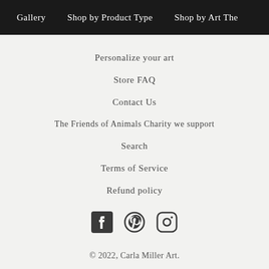Gallery | Shop by Product Type | Shop by Art The
Personalize your art
Store FAQ
Contact Us
The Friends of Animals Charity we support
Search
Terms of Service
Refund policy
[Figure (infographic): Social media icons: Facebook, Pinterest, Instagram]
© 2022, Carla Miller Art.